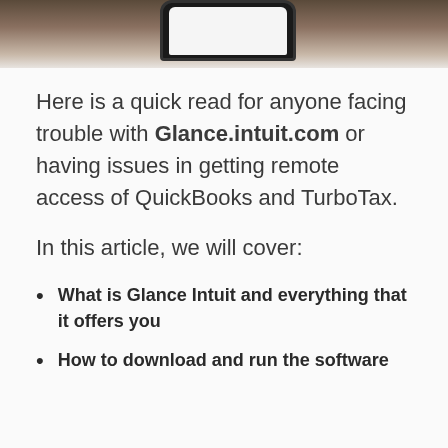[Figure (photo): Top portion of a photo showing hands holding a smartphone, cropped at the top of the page.]
Here is a quick read for anyone facing trouble with Glance.intuit.com or having issues in getting remote access of QuickBooks and TurboTax.
In this article, we will cover:
What is Glance Intuit and everything that it offers you
How to download and run the software